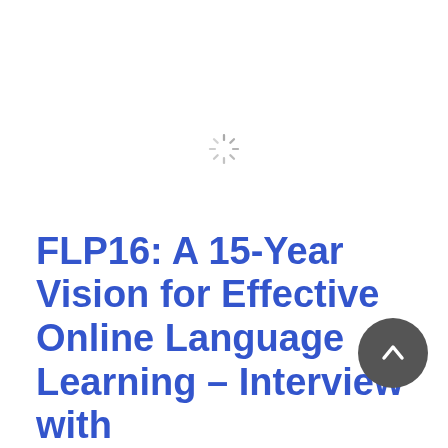[Figure (other): Loading spinner icon (animated spinner graphic) centered in the upper portion of the page]
FLP16: A 15-Year Vision for Effective Online Language Learning – Interview with
[Figure (other): Dark grey circular back-to-top button with an upward-pointing chevron arrow, positioned at the bottom right]